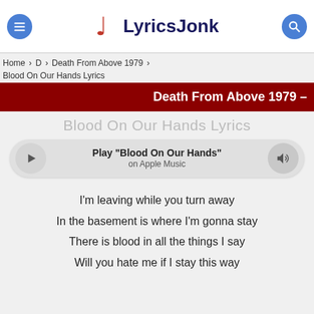LyricsJonk
Home > D > Death From Above 1979 > Blood On Our Hands Lyrics
Death From Above 1979 –
Blood On Our Hands Lyrics
Play "Blood On Our Hands" on Apple Music
I'm leaving while you turn away
In the basement is where I'm gonna stay
There is blood in all the things I say
Will you hate me if I stay this way